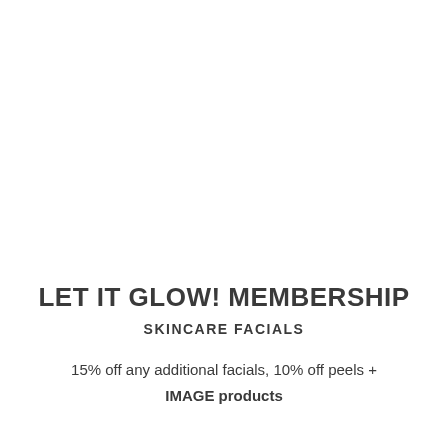LET IT GLOW! MEMBERSHIP
SKINCARE FACIALS
15% off any additional facials, 10% off peels + IMAGE products